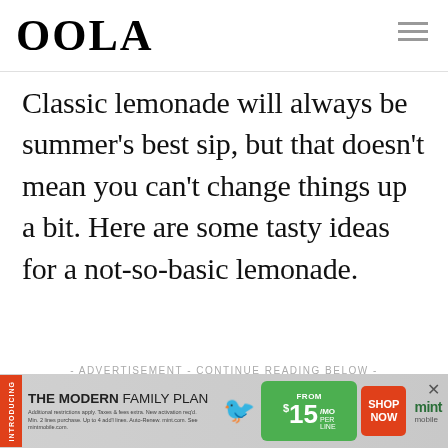OOLA
Classic lemonade will always be summer’s best sip, but that doesn’t mean you can’t change things up a bit. Here are some tasty ideas for a not-so-basic lemonade.
- ADVERTISEMENT - CONTINUE READING BELOW -
[Figure (infographic): Mint Mobile advertisement banner: THE MODERN FAMILY PLAN from $15/MO PER LINE SHOP NOW. mint mobile logo. Fine print text about restrictions.]